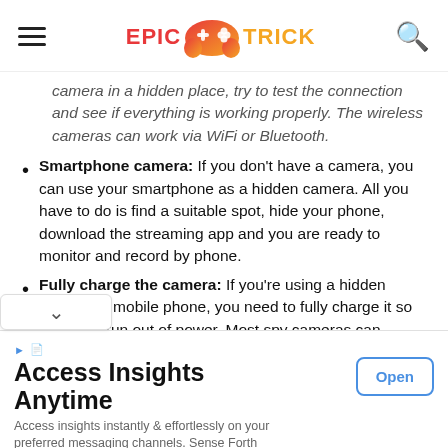Epic Trick (website header with logo and navigation)
camera in a hidden place, try to test the connection and see if everything is working properly. The wireless cameras can work via WiFi or Bluetooth.
Smartphone camera: If you don't have a camera, you can use your smartphone as a hidden camera. All you have to do is find a suitable spot, hide your phone, download the streaming app and you are ready to monitor and record by phone.
Fully charge the camera: If you're using a hidden camera or mobile phone, you need to fully charge it so you don't run out of power. Most spy cameras can
[Figure (screenshot): Advertisement banner: 'Access Insights Anytime' with Open button and body text 'Access insights instantly & effortlessly on your preferred messaging channels. Sense Forth']